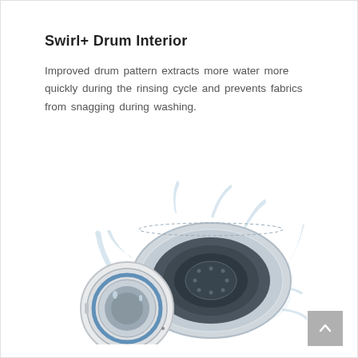Swirl+ Drum Interior
Improved drum pattern extracts more water more quickly during the rinsing cycle and prevents fabrics from snagging during washing.
[Figure (photo): Washing machine drum open with water splash effect, showing the Swirl+ drum interior pattern. A front-load washer door is open on the left, and the drum interior is visible with water splashing around it.]